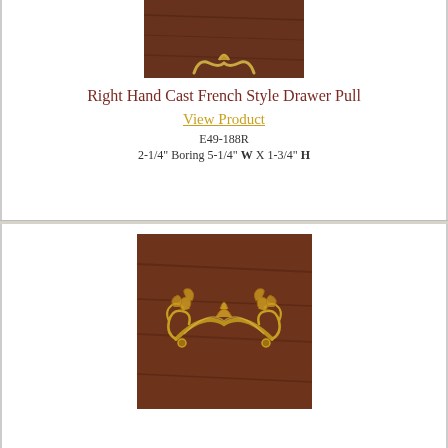[Figure (photo): Close-up photo of a gold/brass right hand cast French style drawer pull against a dark wood background, partially cropped at top]
Right Hand Cast French Style Drawer Pull
View Product
E49-188R
2-1/4" Boring 5-1/4" W X 1-3/4" H
[Figure (photo): Photo of a gold/brass right hand cast French style drawer pull with ornate scrollwork and leaf details, mounted on dark walnut wood background]